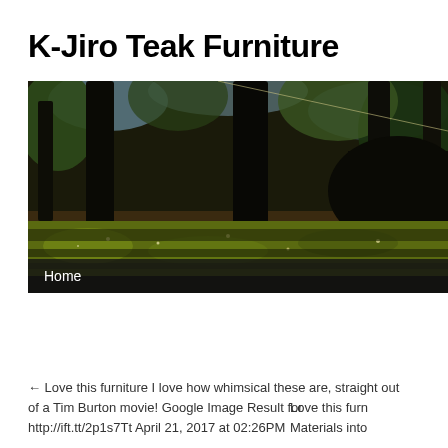K-Jiro Teak Furniture
[Figure (photo): Forest scene with tall dark tree trunks, mossy ground cover with golden/green moss, dappled sunlight, natural woodland setting. Navigation bar with 'Home' link overlaid at bottom.]
← Love this furniture I love how whimsical these are, straight out of a Tim Burton movie! Google Image Result for http://ift.tt/2p1s7Tt April 21, 2017 at 02:26PM
Love this furn Materials into